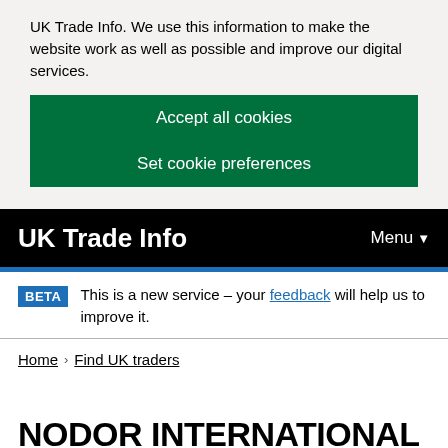UK Trade Info. We use this information to make the website work as well as possible and improve our digital services.
Accept all cookies
Set cookie preferences
UK Trade Info   Menu
BETA  This is a new service – your feedback will help us to improve it.
Home > Find UK traders
NODOR INTERNATIONAL